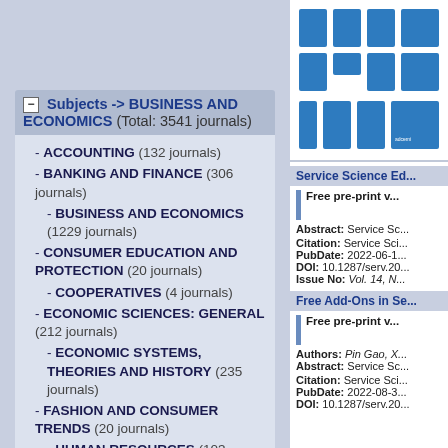- Subjects -> BUSINESS AND ECONOMICS (Total: 3541 journals)
- ACCOUNTING (132 journals)
- BANKING AND FINANCE (306 journals)
- BUSINESS AND ECONOMICS (1229 journals)
- CONSUMER EDUCATION AND PROTECTION (20 journals)
- COOPERATIVES (4 journals)
- ECONOMIC SCIENCES: GENERAL (212 journals)
- ECONOMIC SYSTEMS, THEORIES AND HISTORY (235 journals)
- FASHION AND CONSUMER TRENDS (20 journals)
- HUMAN RESOURCES (103 journals)
- INSURANCE (26 journals)
- INTERNATIONAL COMMERCE (145 journals)
- INTERNATIONAL
[Figure (photo): Grid of blue journal covers for Service Science Education journal]
Service Science Ed...
Free pre-print v...
Abstract: Service Sc...
Citation: Service Sci... PubDate: 2022-06-1... DOI: 10.1287/serv.20... Issue No: Vol. 14, N...
Free Add-Ons in Se...
Free pre-print v...
Authors: Pin Gao, X... Abstract: Service Sc...
Citation: Service Sci... PubDate: 2022-08-3... DOI: 10.1287/serv.20...